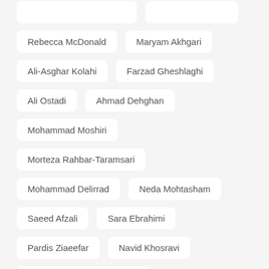Rebecca McDonald
Maryam Akhgari
Ali-Asghar Kolahi
Farzad Gheshlaghi
Ali Ostadi
Ahmad Dehghan
Mohammad Moshiri
Morteza Rahbar-Taramsari
Mohammad Delirrad
Neda Mohtasham
Saeed Afzali
Sara Ebrahimi
Pardis Ziaeefar
Navid Khosravi
Amir Mohammad Kazemifar
Mohammadreza Ghadirzadeh